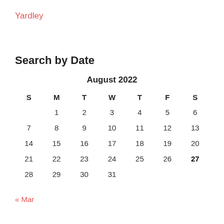Yardley
Search by Date
| S | M | T | W | T | F | S |
| --- | --- | --- | --- | --- | --- | --- |
|  | 1 | 2 | 3 | 4 | 5 | 6 |
| 7 | 8 | 9 | 10 | 11 | 12 | 13 |
| 14 | 15 | 16 | 17 | 18 | 19 | 20 |
| 21 | 22 | 23 | 24 | 25 | 26 | 27 |
| 28 | 29 | 30 | 31 |  |  |  |
« Mar